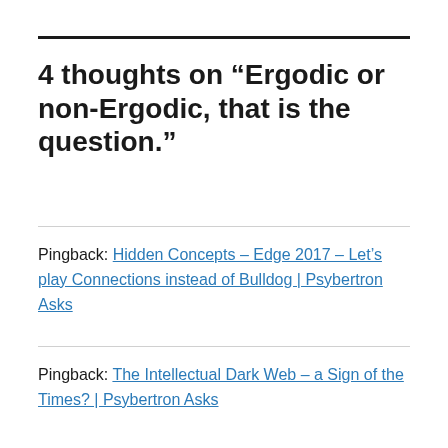4 thoughts on “Ergodic or non-Ergodic, that is the question.”
Pingback: Hidden Concepts – Edge 2017 – Let’s play Connections instead of Bulldog | Psybertron Asks
Pingback: The Intellectual Dark Web – a Sign of the Times? | Psybertron Asks